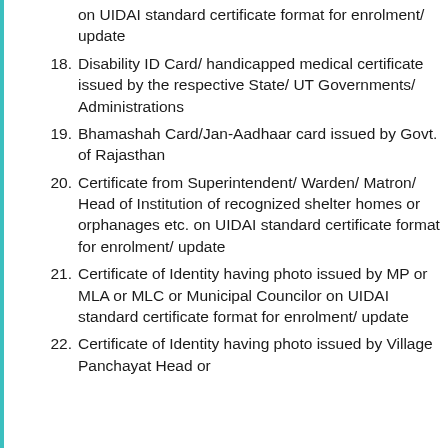on UIDAI standard certificate format for enrolment/ update
18. Disability ID Card/ handicapped medical certificate issued by the respective State/ UT Governments/ Administrations
19. Bhamashah Card/Jan-Aadhaar card issued by Govt. of Rajasthan
20. Certificate from Superintendent/ Warden/ Matron/ Head of Institution of recognized shelter homes or orphanages etc. on UIDAI standard certificate format for enrolment/ update
21. Certificate of Identity having photo issued by MP or MLA or MLC or Municipal Councilor on UIDAI standard certificate format for enrolment/ update
22. Certificate of Identity having photo issued by Village Panchayat Head or